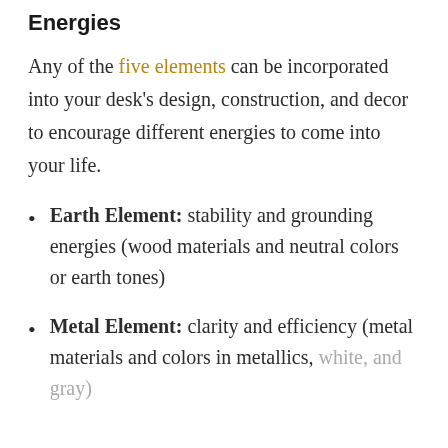Energies
Any of the five elements can be incorporated into your desk's design, construction, and decor to encourage different energies to come into your life.
Earth Element: stability and grounding energies (wood materials and neutral colors or earth tones)
Metal Element: clarity and efficiency (metal materials and colors in metallics, white, and gray)